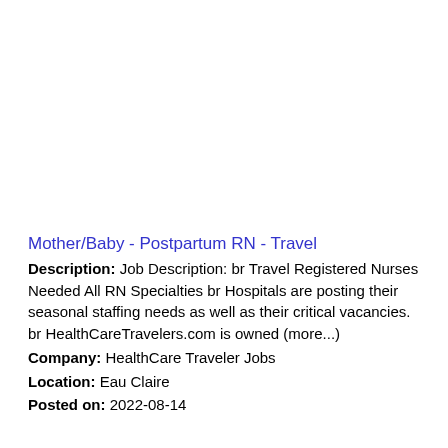Mother/Baby - Postpartum RN - Travel
Description: Job Description: br Travel Registered Nurses Needed All RN Specialties br Hospitals are posting their seasonal staffing needs as well as their critical vacancies. br HealthCareTravelers.com is owned (more...)
Company: HealthCare Traveler Jobs
Location: Eau Claire
Posted on: 2022-08-14